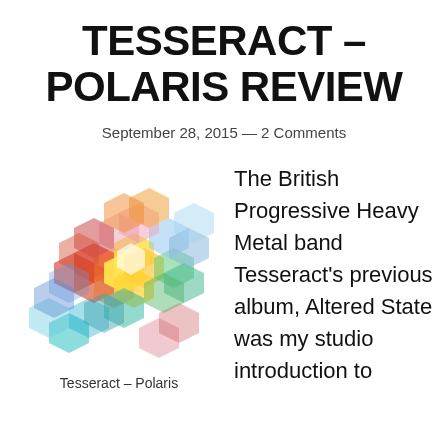TESSERACT – POLARIS REVIEW
September 28, 2015 — 2 Comments
[Figure (illustration): Colorful geometric hexagonal crystal/cube artwork for Tesseract – Polaris album cover, made of overlapping translucent hexagons in red, orange, yellow, green, teal, blue, and pink.]
Tesseract – Polaris
The British Progressive Heavy Metal band Tesseract's previous album, Altered State was my studio introduction to